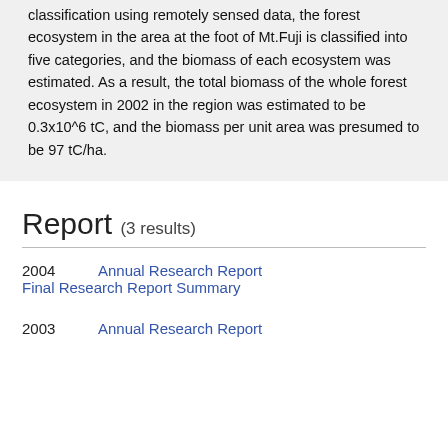classification using remotely sensed data, the forest ecosystem in the area at the foot of Mt.Fuji is classified into five categories, and the biomass of each ecosystem was estimated. As a result, the total biomass of the whole forest ecosystem in 2002 in the region was estimated to be 0.3x10^6 tC, and the biomass per unit area was presumed to be 97 tC/ha.
Report (3 results)
2004   Annual Research Report   Final Research Report Summary
2003   Annual Research Report